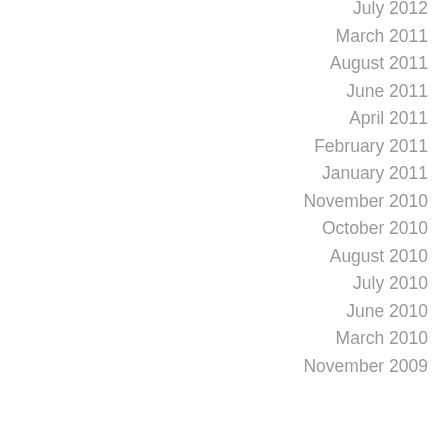July 2012
March 2011
August 2011
June 2011
April 2011
February 2011
January 2011
November 2010
October 2010
August 2010
July 2010
June 2010
March 2010
November 2009